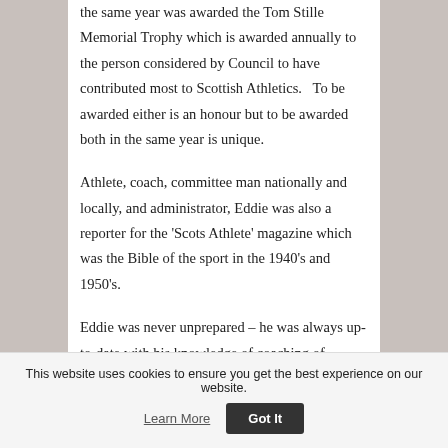the same year was awarded the Tom Stille Memorial Trophy which is awarded annually to the person considered by Council to have contributed most to Scottish Athletics.   To be awarded either is an honour but to be awarded both in the same year is unique.
Athlete, coach, committee man nationally and locally, and administrator, Eddie was also a reporter for the 'Scots Athlete' magazine which was the Bible of the sport in the 1940's and 1950's.
Eddie was never unprepared – he was always up-to-date with his knowledge of coaching of Scottish athletics generally.   He was genuinely 'easy-going'
This website uses cookies to ensure you get the best experience on our website.
Learn More
Got It